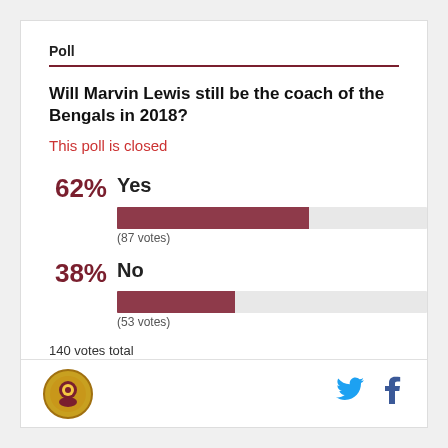Poll
Will Marvin Lewis still be the coach of the Bengals in 2018?
This poll is closed
[Figure (bar-chart): Poll results]
140 votes total